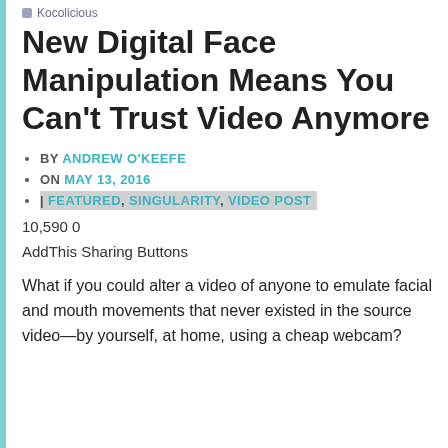Kocolicious
New Digital Face Manipulation Means You Can't Trust Video Anymore
BY ANDREW O'KEEFE
ON MAY 13, 2016
| FEATURED, SINGULARITY, VIDEO POST
10,590 0
AddThis Sharing Buttons
What if you could alter a video of anyone to emulate facial and mouth movements that never existed in the source video—by yourself, at home, using a cheap webcam?